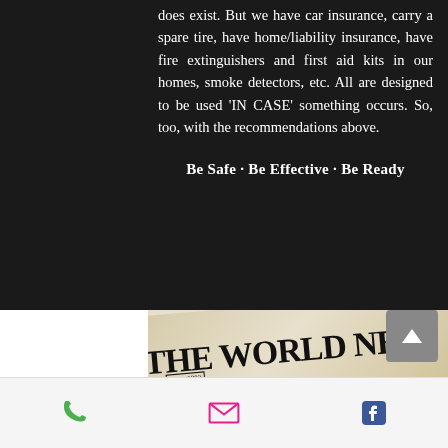does exist. But we have car insurance, carry a spare tire, have home/liability insurance, have fire extinguishers and first aid kits in our homes, smoke detectors, etc. All are designed to be used 'IN CASE' something occurs. So, too, with the recommendations above.
Be Safe · Be Effective · Be Ready
[Figure (photo): Photo of a newspaper showing 'THE WORLD NEWS' masthead with 'Since 1883' and 'YOUR NUMBER ONE SOURCE FOR...' tagline, and partial 'HOME' text below.]